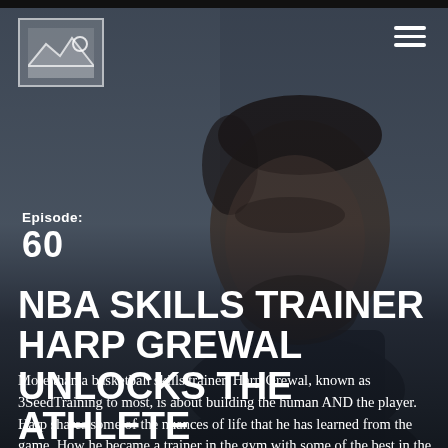[Figure (photo): Background photo of a man (NBA skills trainer Harp Grewal) in dark blue-grey tones, close-up portrait facing slightly right]
[Figure (logo): Small logo box in top left with mountain/landscape placeholder icon, white border on grey background]
Episode:
60
NBA SKILLS TRAINER HARP GREWAL UNLOCKS THE ATHLETE
More than a basketball skills trainer, Harp Grewal, known as 3SeedTraining to most, is about building the human AND the player. Harp shares some of the nuances of life that he has learned from the game. How he became a trainer in the gym with some of the best in the game, one of those people being the